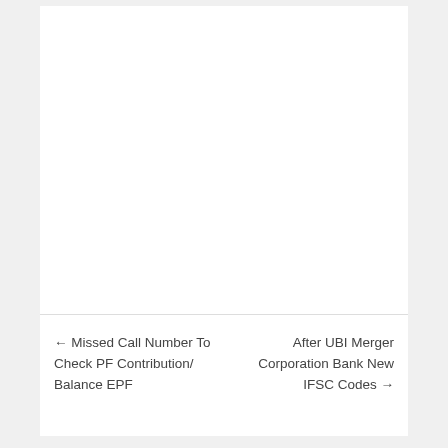← Missed Call Number To Check PF Contribution/ Balance EPF
After UBI Merger Corporation Bank New IFSC Codes →